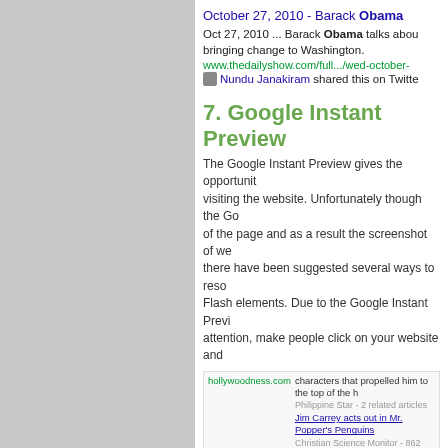[Figure (screenshot): Google search result snippet for 'October 27, 2010 - Barack Obama' from thedailyshow.com, shared by Nundu Janakiram on Twitter]
7. Google Instant Preview
The Google Instant Preview gives the opportunity visiting the website. Unfortunately though the Go of the page and as a result the screenshot of we there have been suggested several ways to resc Flash elements. Due to the Google Instant Previ attention, make people click on your website and
[Figure (screenshot): Google search results page screenshot showing Jim Carrey related news articles, Jim Carrey Official Site and Jim Carrey IMDb results with Google Instant Preview interface]